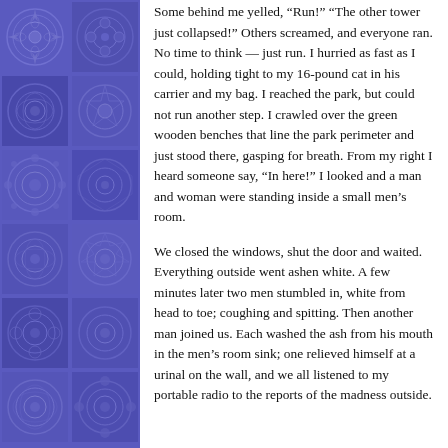[Figure (illustration): Decorative blue/purple embossed tile border with circular mandala-like medallion patterns arranged in a grid of two columns running the full left side of the page.]
Some behind me yelled, “Run!” “The other tower just collapsed!” Others screamed, and everyone ran. No time to think — just run. I hurried as fast as I could, holding tight to my 16-pound cat in his carrier and my bag. I reached the park, but could not run another step. I crawled over the green wooden benches that line the park perimeter and just stood there, gasping for breath. From my right I heard someone say, “In here!” I looked and a man and woman were standing inside a small men’s room.
We closed the windows, shut the door and waited. Everything outside went ashen white. A few minutes later two men stumbled in, white from head to toe; coughing and spitting. Then another man joined us. Each washed the ash from his mouth in the men’s room sink; one relieved himself at a urinal on the wall, and we all listened to my portable radio to the reports of the madness outside.